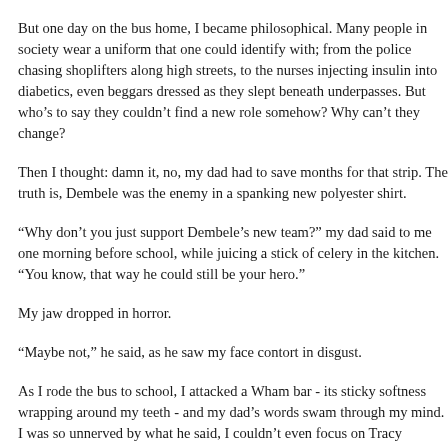But one day on the bus home, I became philosophical. Many people in society wear a uniform that one could identify with; from the police chasing shoplifters along high streets, to the nurses injecting insulin into diabetics, even beggars dressed as they slept beneath underpasses. But who's to say they couldn't find a new role somehow? Why can't they change?
Then I thought: damn it, no, my dad had to save months for that strip. The truth is, Dembele was the enemy in a spanking new polyester shirt.
“Why don’t you just support Dembele’s new team?” my dad said to me one morning before school, while juicing a stick of celery in the kitchen. “You know, that way he could still be your hero.”
My jaw dropped in horror.
“Maybe not,” he said, as he saw my face contort in disgust.
As I rode the bus to school, I attacked a Wham bar - its sticky softness wrapping around my teeth - and my dad’s words swam through my mind. I was so unnerved by what he said, I couldn’t even focus on Tracy Cooper’s shapely calves during hockey later that afternoon.